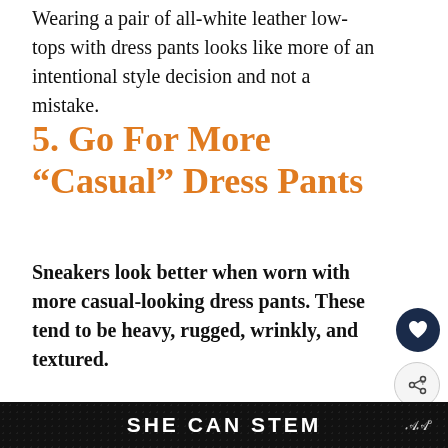Wearing a pair of all-white leather low-tops with dress pants looks like more of an intentional style decision and not a mistake.
5. Go For More “Casual” Dress Pants
Sneakers look better when worn with more casual-looking dress pants. These tend to be heavy, rugged, wrinkly, and textured.
[Figure (screenshot): Advertisement banner with orange block showing number 43, circular photos of girls, green background, text showing OLO SHI WITH YNAKI, and WHAT'S NEXT section with A Guide To Wearing Pol...]
[Figure (screenshot): Dark bottom bar with SHE CAN STEM text in white bold letters and a logo icon on the right]